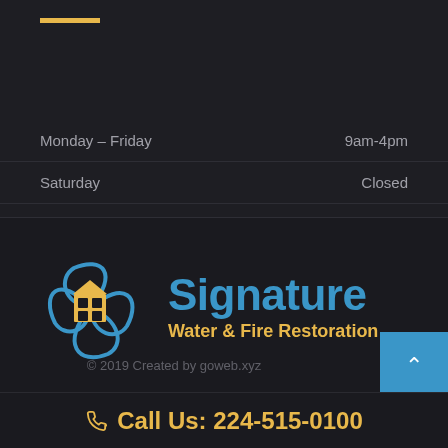| Day | Hours |
| --- | --- |
| Monday – Friday | 9am-4pm |
| Saturday | Closed |
| Sunday | Closed |
[Figure (logo): Signature Water & Fire Restoration logo — blue swirling petals around a house icon, with company name in blue and gold]
© 2019 Created by goweb.xyz
Call Us: 224-515-0100